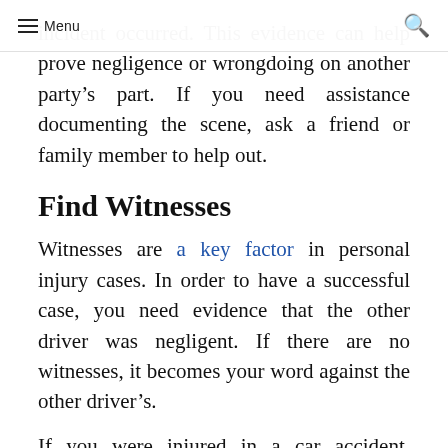Menu
incident occurred. This evidence can help prove negligence or wrongdoing on another party's part. If you need assistance documenting the scene, ask a friend or family member to help out.
Find Witnesses
Witnesses are a key factor in personal injury cases. In order to have a successful case, you need evidence that the other driver was negligent. If there are no witnesses, it becomes your word against the other driver's.
If you were injured in a car accident, finding